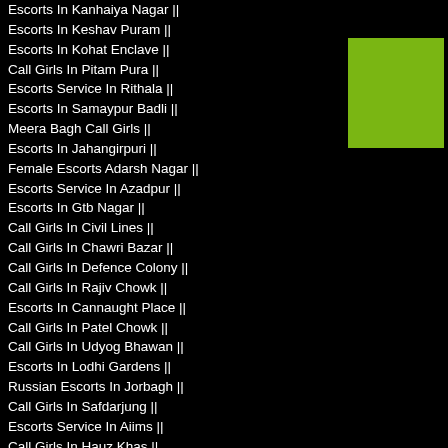Escorts In Kanhaiya Nagar ||
Escorts In Keshav Puram ||
Escorts In Kohat Enclave ||
Call Girls In Pitam Pura ||
Escorts Service In Rithala ||
Escorts In Samaypur Badli ||
Meera Bagh Call Girls ||
Escorts In Jahangirpuri ||
Female Escorts Adarsh Nagar ||
Escorts Service In Azadpur ||
Escorts In Gtb Nagar ||
Call Girls In Civil Lines ||
Call Girls In Chawri Bazar ||
Call Girls In Defence Colony ||
Call Girls In Rajiv Chowk ||
Escorts In Cannaught Place ||
Call Girls In Patel Chowk ||
Call Girls In Udyog Bhawan ||
Escorts In Lodhi Gardens ||
Russian Escorts In Jorbagh ||
Call Girls In Safdarjung ||
Escorts Service In Aiims ||
Call Girls In Hauz Khas ||
Call Girls Lodhi Road ||
Russian Escorts In Chhattarpur ||
Female Escorts Sultanpuri ||
Russian Escorts In Ghitorni ||
Female Escorts Arjan Garh ||
Call Girls In Mg Road ||
[Figure (illustration): Green square/rectangle decorative box in top right corner]